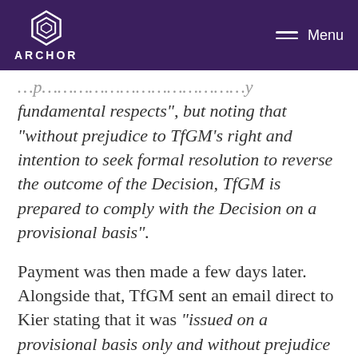ARCHOR — Menu
fundamental respects", but noting that "without prejudice to TfGM’s right and intention to seek formal resolution to reverse the outcome of the Decision, TfGM is prepared to comply with the Decision on a provisional basis".
Payment was then made a few days later. Alongside that, TfGM sent an email direct to Kier stating that it was “issued on a provisional basis only and without prejudice to TfGM’s right and intent to seek formal